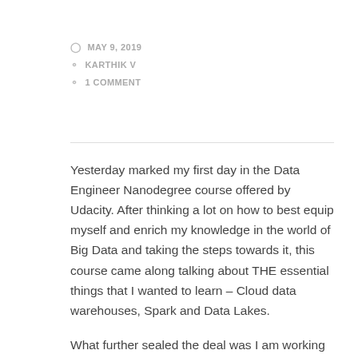MAY 9, 2019 · KARTHIK V · 1 COMMENT
Yesterday marked my first day in the Data Engineer Nanodegree course offered by Udacity. After thinking a lot on how to best equip myself and enrich my knowledge in the world of Big Data and taking the steps towards it, this course came along talking about THE essential things that I wanted to learn – Cloud data warehouses, Spark and Data Lakes.
What further sealed the deal was I am working on a project where we are using Spark and Data Lake as well. However, it is being handled by a separate team. My involvement so far has been to the extent